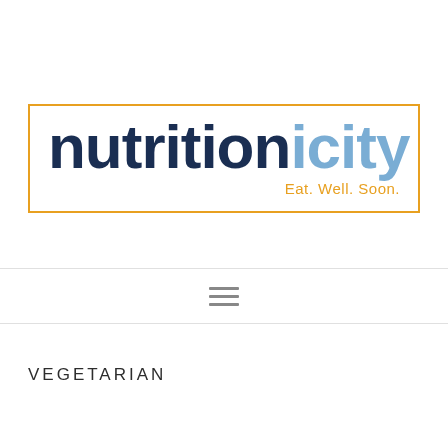[Figure (logo): Nutritionicity logo with dark navy 'nutrition' text, light blue 'icity' text, and orange 'Eat. Well. Soon.' tagline, enclosed in an orange border rectangle]
≡
VEGETARIAN